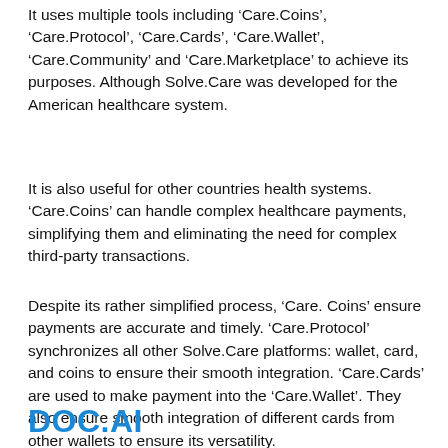It uses multiple tools including 'Care.Coins', 'Care.Protocol', 'Care.Cards', 'Care.Wallet', 'Care.Community' and 'Care.Marketplace' to achieve its purposes. Although Solve.Care was developed for the American healthcare system.
It is also useful for other countries health systems. 'Care.Coins' can handle complex healthcare payments, simplifying them and eliminating the need for complex third-party transactions.
Despite its rather simplified process, 'Care. Coins' ensure payments are accurate and timely. 'Care.Protocol' synchronizes all other Solve.Care platforms: wallet, card, and coins to ensure their smooth integration. 'Care.Cards' are used to make payment into the 'Care.Wallet'. They also ensure smooth integration of different cards from other wallets to ensure its versatility.
DOC.AI